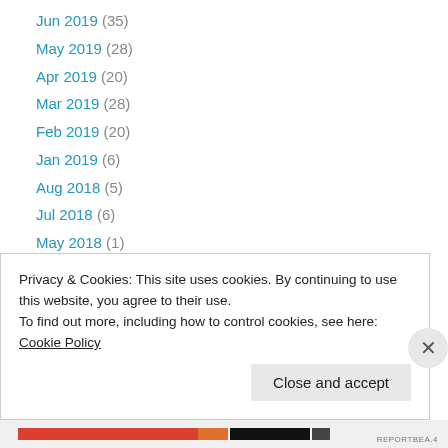Jun 2019 (35)
May 2019 (28)
Apr 2019 (20)
Mar 2019 (28)
Feb 2019 (20)
Jan 2019 (6)
Aug 2018 (5)
Jul 2018 (6)
May 2018 (1)
Apr 2018 (5)
Mar 2018 (4)
Feb 2018 (1)
Jan 2018 (1)
Privacy & Cookies: This site uses cookies. By continuing to use this website, you agree to their use. To find out more, including how to control cookies, see here: Cookie Policy
Close and accept